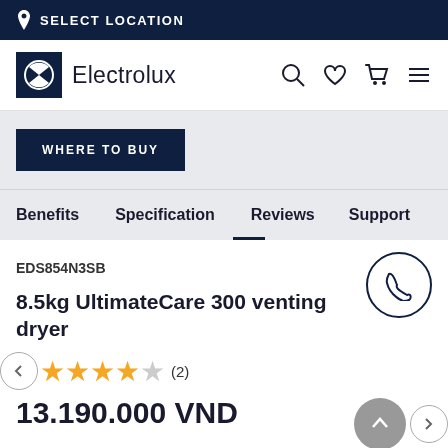SELECT LOCATION
[Figure (logo): Electrolux logo with brand name]
WHERE TO BUY
Benefits  Specification  Reviews  Support
EDS854N3SB
8.5kg UltimateCare 300 venting dryer
★★★★☆ (2)
13.190.000 VND